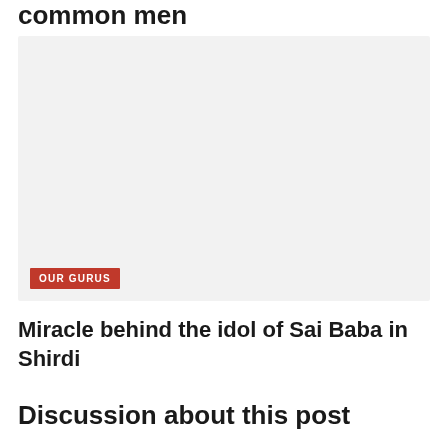common men
[Figure (photo): Large image placeholder with light gray background and OUR GURUS red label badge in the bottom-left corner]
OUR GURUS
Miracle behind the idol of Sai Baba in Shirdi
Discussion about this post